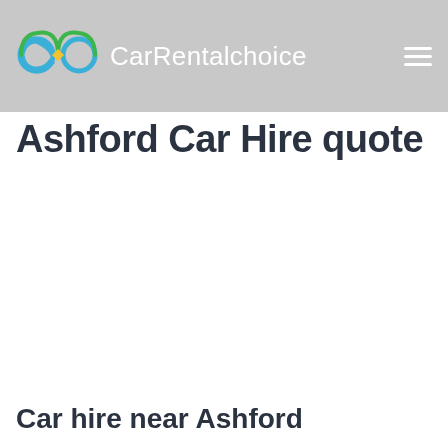CarRentalchoice
Ashford Car Hire quote
Car hire near Ashford